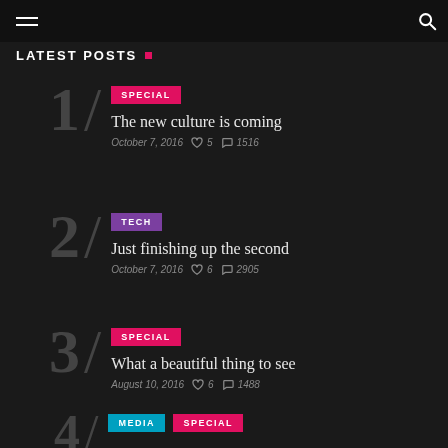LATEST POSTS
1 / SPECIAL — The new culture is coming — October 7, 2016 — 5 likes — 1516 views
2 / TECH — Just finishing up the second — October 7, 2016 — 6 likes — 2905 views
3 / SPECIAL — What a beautiful thing to see — August 10, 2016 — 6 likes — 1488 views
4 / MEDIA SPECIAL